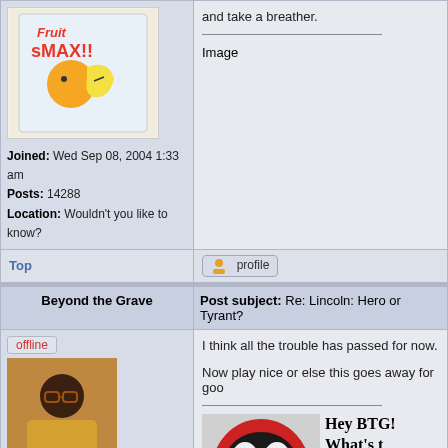[Figure (illustration): Fruit Smax product box with animated fruit characters - orange and banana]
and take a breather.
[Figure (other): Image placeholder (broken image icon)]
Joined: Wed Sep 08, 2004 1:33 am
Posts: 14288
Location: Wouldn't you like to know?
Top
profile
Beyond the Grave
Post subject: Re: Lincoln: Hero or Tyrant?
offline
[Figure (photo): User avatar photo of person in colorful outfit]
Joined: Mon Sep 13, 2004 3:10 am
Posts: 14278
Location: Behind Blue Eyes
I think all the trouble has passed for now.

Now play nice or else this goes away for goo
[Figure (illustration): Deadpool mask/face illustration in red and black]
Hey BTG! What's t of a better sig idea Carlin or Hedberg pop culture refere